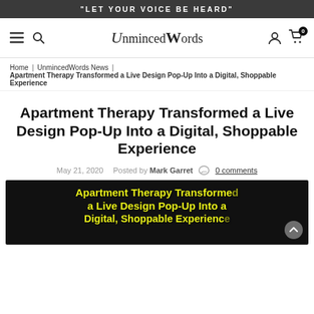"LET YOUR VOICE BE HEARD"
UnmincedWords
Home | UnmincedWords News | Apartment Therapy Transformed a Live Design Pop-Up Into a Digital, Shoppable Experience
Apartment Therapy Transformed a Live Design Pop-Up Into a Digital, Shoppable Experience
May 21, 2020   Posted by Mark Garret   0 comments
[Figure (screenshot): Article thumbnail image showing yellow bold text on black background reading 'Apartment Therapy Transformed a Live Design Pop-Up Into a Digital, Shoppable Experience' with a scroll-to-top button]